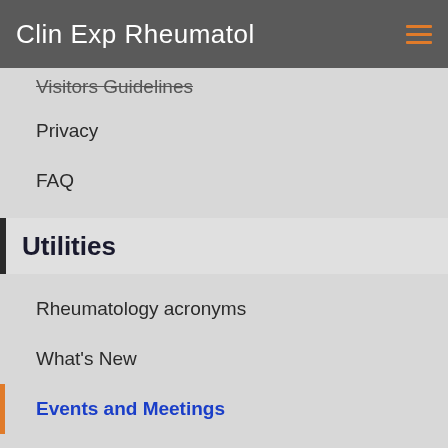Clin Exp Rheumatol
Visitors Guidelines
Privacy
FAQ
Utilities
Rheumatology acronyms
What's New
Events and Meetings
Links and Banner
Rheuma Comics
Journal